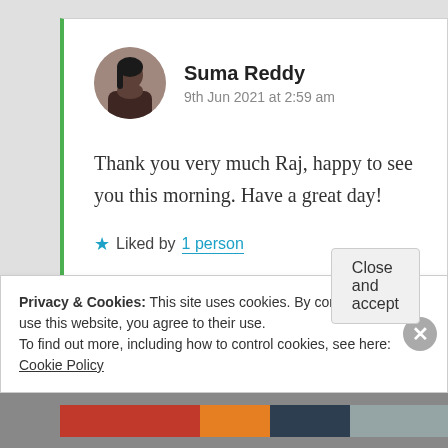Suma Reddy
9th Jun 2021 at 2:59 am
Thank you very much Raj, happy to see you this morning. Have a great day!
★ Liked by 1 person
Privacy & Cookies: This site uses cookies. By continuing to use this website, you agree to their use.
To find out more, including how to control cookies, see here: Cookie Policy
Close and accept